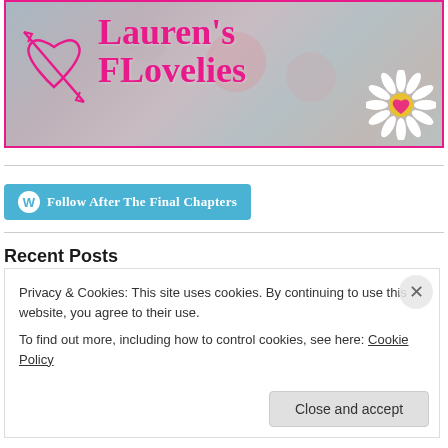[Figure (logo): Lauren's FLovelies blog banner with pink heart/arrow logo on left, 'Lauren's FLovelies' in pink text center, daisy with heart center on right, blurred floral background]
[Figure (other): Follow After The Final Chapters button in teal/blue with WordPress icon]
Recent Posts
Privacy & Cookies: This site uses cookies. By continuing to use this website, you agree to their use.
To find out more, including how to control cookies, see here: Cookie Policy
Close and accept